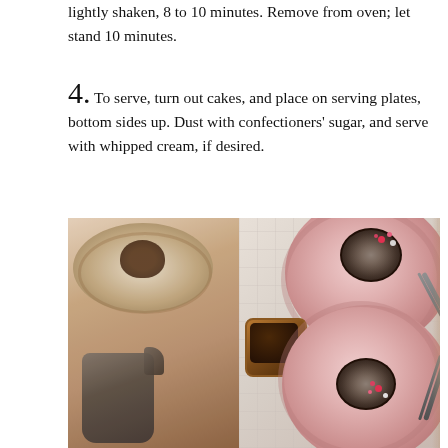lightly shaken, 8 to 10 minutes. Remove from oven; let stand 10 minutes.
4. To serve, turn out cakes, and place on serving plates, bottom sides up. Dust with confectioners' sugar, and serve with whipped cream, if desired.
[Figure (photo): Two-panel food photo. Left panel: sepia-toned image showing a cake on a plate and a metal jug below. Right panel: overhead color shot of two pink speckled plates each with a chocolate lava cake dusted with confectioners' sugar and heart sprinkles, with forks and a small coffee cup.]